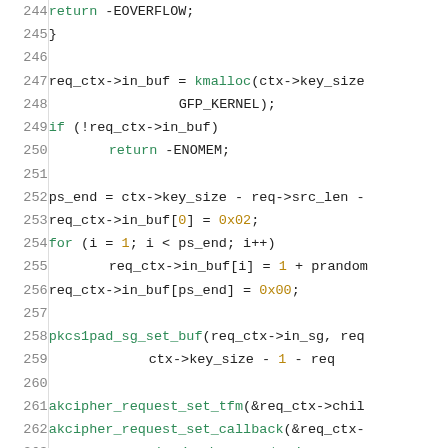Source code listing lines 244-265, C kernel crypto code
244: return -EOVERFLOW;
245: }
246: (blank)
247: req_ctx->in_buf = kmalloc(ctx->key_size
248:                            GFP_KERNEL);
249: if (!req_ctx->in_buf)
250:         return -ENOMEM;
251: (blank)
252: ps_end = ctx->key_size - req->src_len -
253: req_ctx->in_buf[0] = 0x02;
254: for (i = 1; i < ps_end; i++)
255:         req_ctx->in_buf[i] = 1 + prandom
256: req_ctx->in_buf[ps_end] = 0x00;
257: (blank)
258: pkcs1pad_sg_set_buf(req_ctx->in_sg, req
259:                     ctx->key_size - 1 - req
260: (blank)
261: akcipher_request_set_tfm(&req_ctx->chil
262: akcipher_request_set_callback(&req_ctx->
263:                     pkcs1pad_encrypt_sign_c
264: (blank)
265: /* Reuse output buffer */